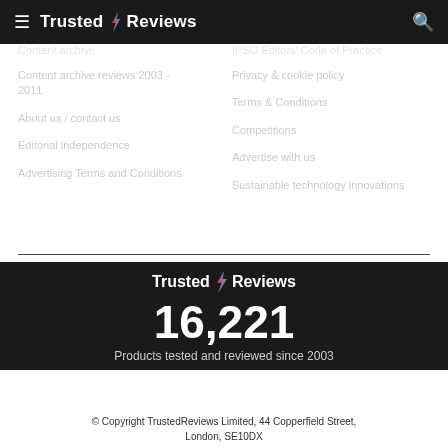Trusted Reviews
Content archive
Content archive reviews 2003 - 2011
About us / contact us
Editorial independence
Advertising Terms and Conditions
IPSO Editors' Code of Practice
Privacy & cookie policy
Terms & Conditions
Competitions
Advertise with us
Sustainable technology innovations
[Figure (logo): Trusted Reviews logo with lightning bolt]
16,221
Products tested and reviewed since 2003
© Copyright TrustedReviews Limited, 44 Copperfield Street, London, SE10DX